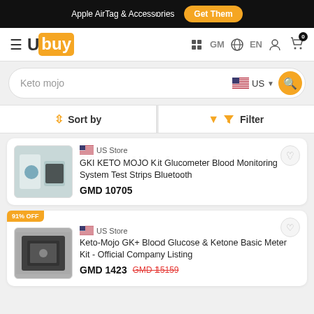Apple AirTag & Accessories  Get Them
[Figure (logo): Ubuy logo with hamburger menu, GM flag selector, EN language, user icon, cart icon with badge 0]
Keto mojo  US (search bar)
Sort by  |  Filter
US Store
GKI KETO MOJO Kit Glucometer Blood Monitoring System Test Strips Bluetooth
GMD 10705
91% OFF  US Store
Keto-Mojo GK+ Blood Glucose & Ketone Basic Meter Kit - Official Company Listing
GMD 1423  GMD 15159